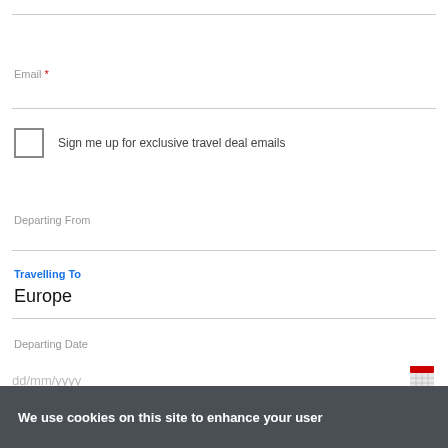Email *
Sign me up for exclusive travel deal emails
Departing From
Travelling To
Europe
Departing Date
dd/mm/yyyy
We use cookies on this site to enhance your user